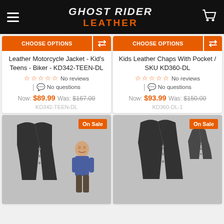Ghost Rider Leather
CHOOSE OPTIONS
Leather Motorcycle Jacket - Kid's Teens - Biker - KD342-TEEN-DL
No reviews
No questions
Now: $89.99  Was: $167.00
KD342-TEEN-DL
CHOOSE OPTIONS
Kids Leather Chaps With Pocket / SKU KD360-DL
No reviews
No questions
Now: $93.99  Was: $150.00
KD360-DL-1
[Figure (photo): Black leather vest product photo with a child model, On Sale badge]
[Figure (photo): Black leather vest product photo with secondary angle, On Sale badge]